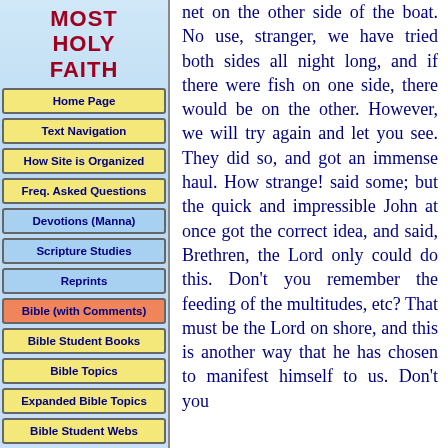MOST HOLY FAITH
Home Page
Text Navigation
How Site is Organized
Freq. Asked Questions
Devotions (Manna)
Scripture Studies
Reprints
Bible (with Comments)
Bible Student Books
Bible Topics
Expanded Bible Topics
Bible Student Webs
Miscellaneous
net on the other side of the boat. No use, stranger, we have tried both sides all night long, and if there were fish on one side, there would be on the other. However, we will try again and let you see. They did so, and got an immense haul. How strange! said some; but the quick and impressible John at once got the correct idea, and said, Brethren, the Lord only could do this. Don't you remember the feeding of the multitudes, etc? That must be the Lord on shore, and this is another way that he has chosen to manifest himself to us. Don't you